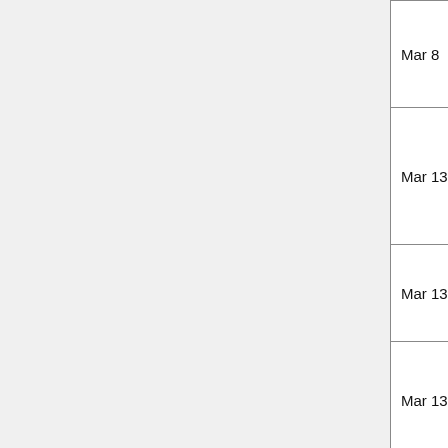| Date | Author | No. | Title |
| --- | --- | --- | --- |
| Mar 8 | Wei Tao Chen | 12 | with N and S Sens… |
| Mar 13 | Chunshang Li | 13 | UNDE IMAG WITH REPR… |
| Mar 13 | Saifuddin Hitawala | 14 | Robu… Divers… |
| Mar 13 | Taylor Denouden | 15 | A neu repres sketc… |
| Mar 15 | Zehao Xu | 16 | Synth noise neura trans… |
| Mar 15 | Prarthana Bhattacharyya | 17 | Wass Enco… |